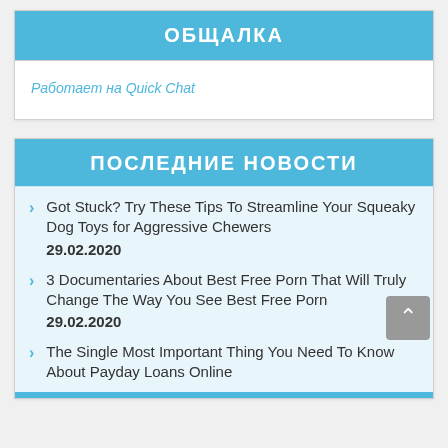ОБЩАЛКА
Работает на Quick Chat
ПОСЛЕДНИЕ НОВОСТИ
Got Stuck? Try These Tips To Streamline Your Squeaky Dog Toys for Aggressive Chewers
29.02.2020
3 Documentaries About Best Free Porn That Will Truly Change The Way You See Best Free Porn
29.02.2020
The Single Most Important Thing You Need To Know About Payday Loans Online